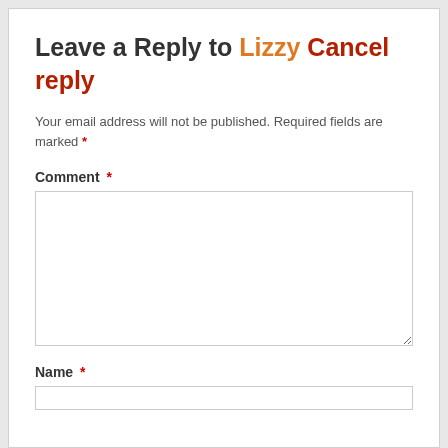Leave a Reply to Lizzy Cancel reply
Your email address will not be published. Required fields are marked *
Comment *
Name *